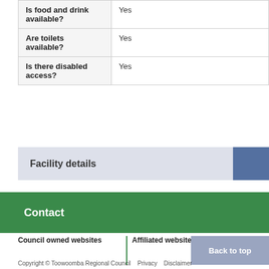| Question | Answer |
| --- | --- |
| Is food and drink available? | Yes |
| Are toilets available? | Yes |
| Is there disabled access? | Yes |
Facility details
Contact
Council owned websites
Affiliated websites
Back to top
Copyright © Toowoomba Regional Council   Privacy   Disclaimer